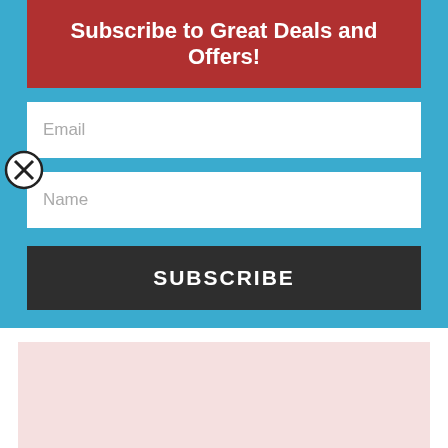Subscribe to Great Deals and Offers!
Email
Name
SUBSCRIBE
[Figure (other): Light pink placeholder block with watermark text TypeEngine.net]